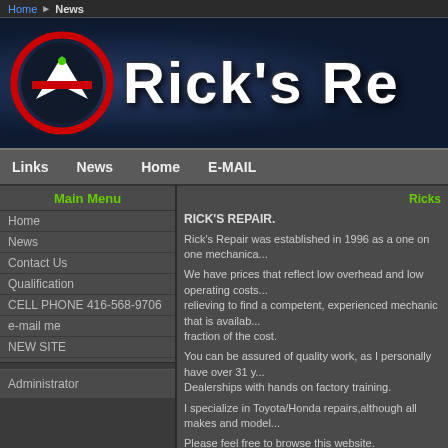Home > News
[Figure (screenshot): Rick's Repair website banner with logo (red circle with white arrow/chevron and green dot) and large white text 'Rick's Re...' on dark blue textured background]
Links  News  Home  E-MAIL
Main Menu
Home
News
Contact Us
Qualification
CELL PHONE 416-568-9706
e-mail me
NEW SITE
Administrator
Ricks
RICK'S REPAIR.
Rick's Repair was established in 1996 as a one on one mechanica...
We have prices that reflect low overhead and low operating costs.... relieving to find a competent, experienced mechanic that is availab... fraction of the cost.
You can be assured of quality work, as I personally have over 31 y... Dealerships with hands on factory training.
I specialize in Toyota/Honda repairs,although all makes and model...
Please feel free to browse this website.
Best Regards,
RICK EVANS
NEW
Right now I am offering the best brake deals you will find anywhere... I can not be beat. Feel free to google Ricks Repair and view the po... parts and workmanship. The automotive repair industry is competit... questionable off shore Chinese parts that are inferior to top line qu... regards to all, Rick Evans